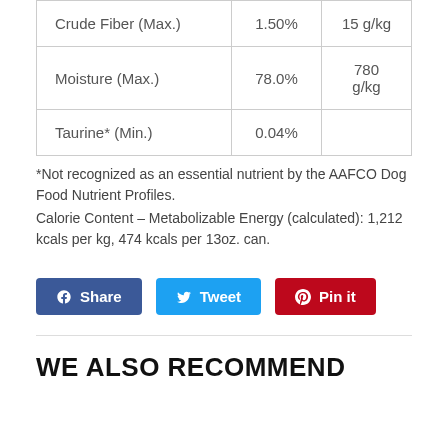|  |  |  |
| --- | --- | --- |
| Crude Fiber (Max.) | 1.50% | 15 g/kg |
| Moisture (Max.) | 78.0% | 780 g/kg |
| Taurine* (Min.) | 0.04% |  |
*Not recognized as an essential nutrient by the AAFCO Dog Food Nutrient Profiles.
Calorie Content – Metabolizable Energy (calculated): 1,212 kcals per kg, 474 kcals per 13oz. can.
[Figure (other): Social sharing buttons: Share (Facebook, blue), Tweet (Twitter, light blue), Pin it (Pinterest, red)]
WE ALSO RECOMMEND